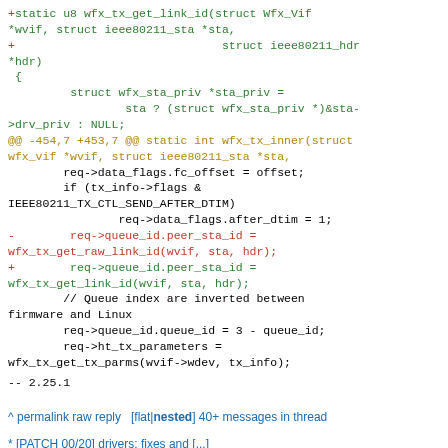[Figure (screenshot): Code diff snippet showing addition of wfx_tx_get_link_id function and changes to wfx_tx_inner function in green (added lines), red (removed lines), and orange (diff header lines). Includes context lines in black/green.]
--
2.25.1
^ permalink raw reply   [flat|nested] 40+ messages in thread
* [PATCH 00/20] drivers: fixes and [...]